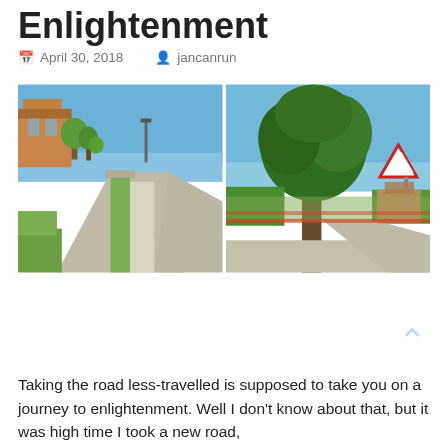Enlightenment
April 30, 2018   jancanrun
[Figure (photo): Two side-by-side outdoor road/street photos taken on a sunny day in what appears to be a small Italian town. Left photo shows a straight residential street with buildings, trees, and green median strip under a bright blue sky. Right photo shows a large leafy tree near a road intersection with a yield/give-way sign, blue sky, and vineyard in the background.]
Taking the road less-travelled is supposed to take you on a journey to enlightenment. Well I don't know about that, but it was high time I took a new road,